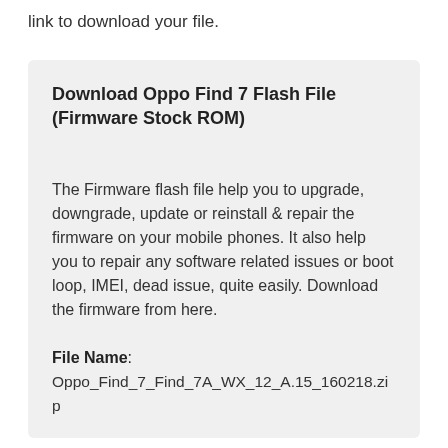link to download your file.
Download Oppo Find 7 Flash File (Firmware Stock ROM)
The Firmware flash file help you to upgrade, downgrade, update or reinstall & repair the firmware on your mobile phones. It also help you to repair any software related issues or boot loop, IMEI, dead issue, quite easily. Download the firmware from here.
File Name: Oppo_Find_7_Find_7A_WX_12_A.15_160218.zip